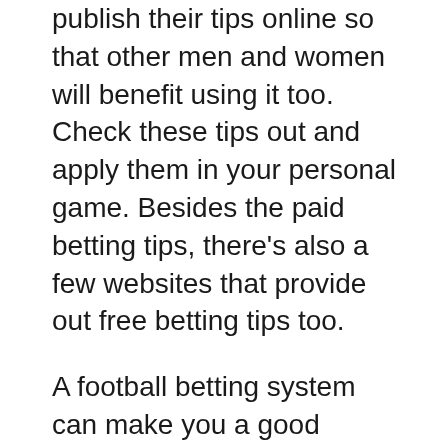publish their tips online so that other men and women will benefit using it too. Check these tips out and apply them in your personal game. Besides the paid betting tips, there's also a few websites that provide out free betting tips too.
A football betting system can make you a good fortune even when you place the bets enjoyment. It always feels good to win a bet and you might not be focused on making money through gambling but when you're win, it's going definitely be exciting. Seek out tips which increase your chances of wining a bet in football.
An essential thing to see about how one can use anedge is so it can do great at